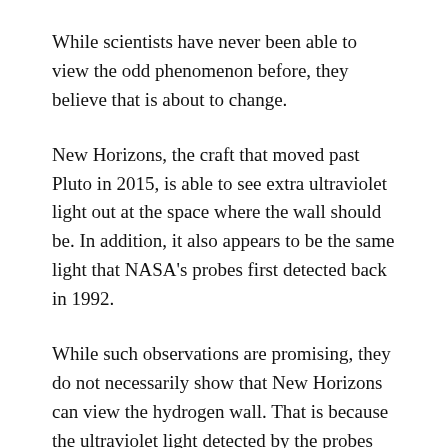While scientists have never been able to view the odd phenomenon before, they believe that is about to change.
New Horizons, the craft that moved past Pluto in 2015, is able to see extra ultraviolet light out at the space where the wall should be. In addition, it also appears to be the same light that NASA’s probes first detected back in 1992.
While such observations are promising, they do not necessarily show that New Horizons can view the hydrogen wall. That is because the ultraviolet light detected by the probes could easily come from another source.